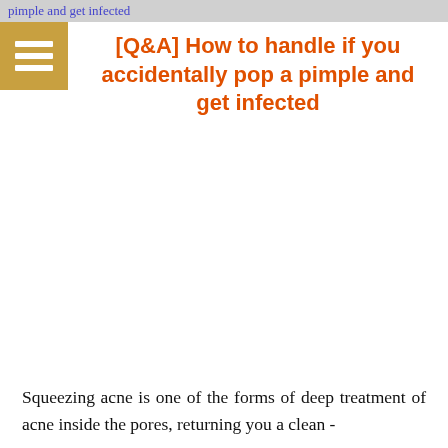pimple and get infected
[Q&A] How to handle if you accidentally pop a pimple and get infected
Squeezing acne is one of the forms of deep treatment of acne inside the pores, returning you a clean -